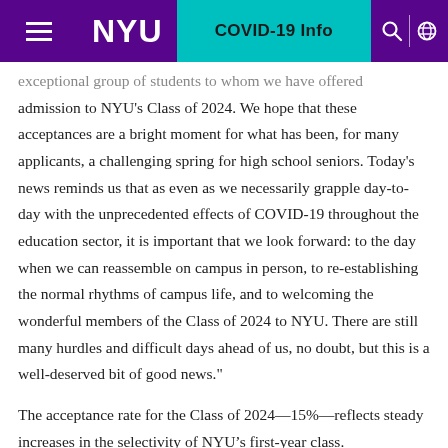NYU | COVID-19 Info
exceptional group of students to whom we have offered admission to NYU's Class of 2024. We hope that these acceptances are a bright moment for what has been, for many applicants, a challenging spring for high school seniors. Today's news reminds us that as even as we necessarily grapple day-to-day with the unprecedented effects of COVID-19 throughout the education sector, it is important that we look forward: to the day when we can reassemble on campus in person, to re-establishing the normal rhythms of campus life, and to welcoming the wonderful members of the Class of 2024 to NYU. There are still many hurdles and difficult days ahead of us, no doubt, but this is a well-deserved bit of good news."
The acceptance rate for the Class of 2024—15%—reflects steady increases in the selectivity of NYU’s first-year class.